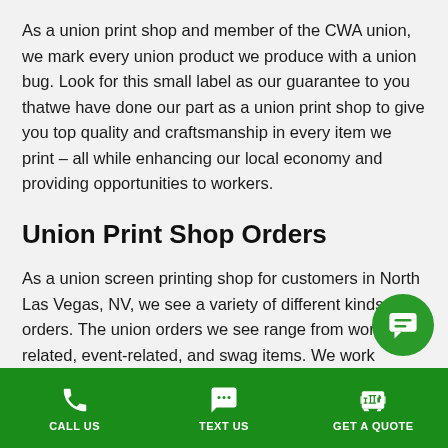As a union print shop and member of the CWA union, we mark every union product we produce with a union bug. Look for this small label as our guarantee to you thatwe have done our part as a union print shop to give you top quality and craftsmanship in every item we print – all while enhancing our local economy and providing opportunities to workers.
Union Print Shop Orders
As a union screen printing shop for customers in North Las Vegas, NV, we see a variety of different kinds of orders. The union orders we see range from work-related, event-related, and swag items. We work closely
CALL US   TEXT US   GET A QUOTE